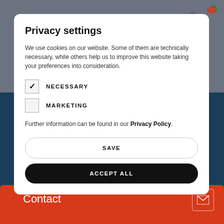Privacy settings
We use cookies on our website. Some of them are technically necessary, while others help us to improve this website taking your preferences into consideration.
NECESSARY (checked)
MARKETING (unchecked)
Further information can be found in our Privacy Policy.
SAVE
ACCEPT ALL
Contact